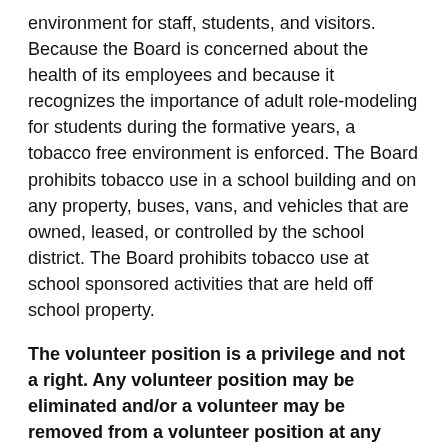environment for staff, students, and visitors. Because the Board is concerned about the health of its employees and because it recognizes the importance of adult role-modeling for students during the formative years, a tobacco free environment is enforced. The Board prohibits tobacco use in a school building and on any property, buses, vans, and vehicles that are owned, leased, or controlled by the school district. The Board prohibits tobacco use at school sponsored activities that are held off school property.
The volunteer position is a privilege and not a right. Any volunteer position may be eliminated and/or a volunteer may be removed from a volunteer position at any time for any reason.
The Ephrata Area School District will not